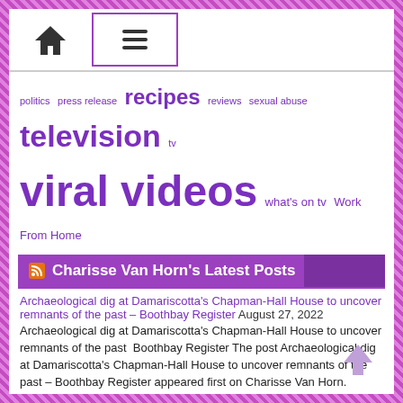Navigation bar with home icon and hamburger menu
politics press release recipes reviews sexual abuse television tv viral videos what's on tv Work From Home
Charisse Van Horn's Latest Posts
Archaeological dig at Damariscotta's Chapman-Hall House to uncover remnants of the past – Boothbay Register August 27, 2022
Archaeological dig at Damariscotta's Chapman-Hall House to uncover remnants of the past  Boothbay Register The post Archaeological dig at Damariscotta's Chapman-Hall House to uncover remnants of the past – Boothbay Register appeared first on Charisse Van Horn.
Press Release for Karen Kafantaris's September 13 HomeFit Workshop (via Zoom) – Daily Mining Gazette August 27, 2022